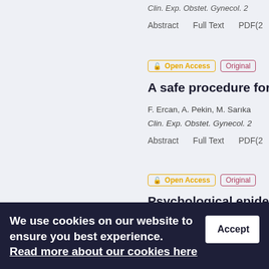Clin. Exp. Obstet. Gynecol. 2
Abstract    Full Text    PDF(2
🔓 Open Access
Original
A safe procedure for n
F. Ercan, A. Pekin, M. Sarıka
Clin. Exp. Obstet. Gynecol. 2
Abstract    Full Text    PDF(2
🔓 Open Access
Original
Psychological epidem dysplasia
J. Chan Hee, K. Jae Won,
Clin. Exp. Obstet. Gynecol. 1
We use cookies on our website to ensure you best experience.
Read more about our cookies here
Accept